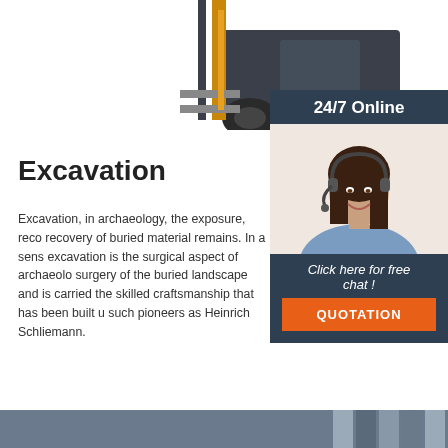[Figure (photo): Top portion of a yellow and dark forklift machine, showing wheels, forks and mast against white background]
[Figure (photo): 24/7 online support panel with dark navy background showing a smiling female customer service agent wearing a headset, with 'Click here for free chat!' text and an orange QUOTATION button]
Excavation
Excavation, in archaeology, the exposure, recovery of buried material remains. In a sense excavation is the surgical aspect of archaeology, surgery of the buried landscape and is carried the skilled craftsmanship that has been built up such pioneers as Heinrich Schliemann.
[Figure (other): Orange 'Get Price' button]
[Figure (other): Bottom gray decorative bar with alternating stripe panels]